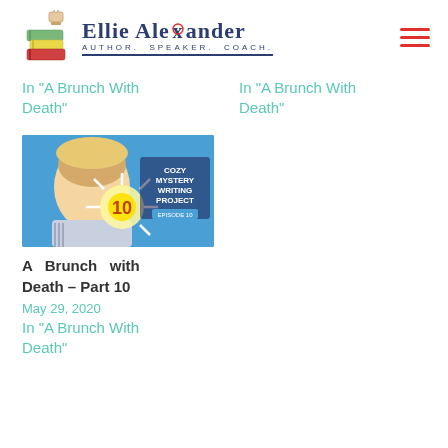[Figure (logo): Ellie Alexander logo with stacked colorful books and text 'Ellie Alexander Author. Speaker. Coach.']
In "A Brunch With Death"
In "A Brunch With Death"
[Figure (photo): Thumbnail image for 'Cozy Mystery Writing Project Episode 10' showing a person with blonde hair and a glowing '10' graphic]
A Brunch with Death – Part 10
May 29, 2020
In "A Brunch With Death"